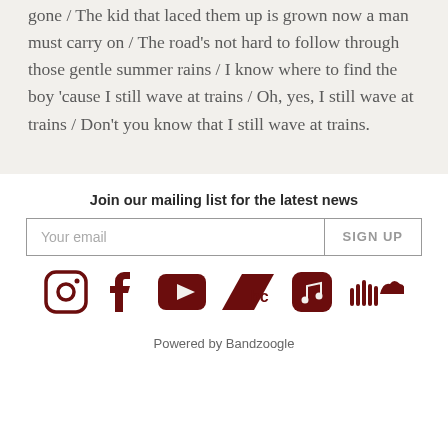gone / The kid that laced them up is grown now a man must carry on / The road's not hard to follow through those gentle summer rains / I know where to find the boy 'cause I still wave at trains / Oh, yes, I still wave at trains / Don't you know that I still wave at trains.
Join our mailing list for the latest news
Your email [input field] SIGN UP [button]
[Figure (infographic): Six social media icons in dark red/maroon: Instagram, Facebook, YouTube, Bandcamp, Apple Music, SoundCloud]
Powered by Bandzoogle